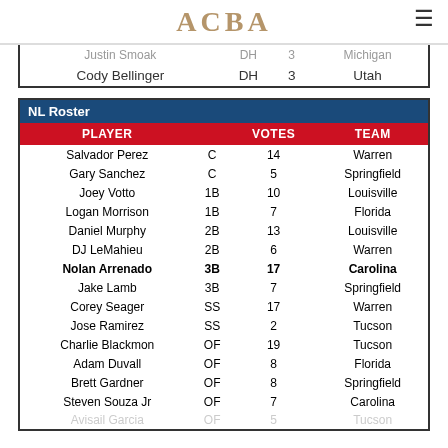ACBA
|  |  |  |  |
| --- | --- | --- | --- |
| Justin Smoak | DH | 3 | Michigan |
| Cody Bellinger | DH | 3 | Utah |
| PLAYER |  | VOTES | TEAM |
| --- | --- | --- | --- |
| Salvador Perez | C | 14 | Warren |
| Gary Sanchez | C | 5 | Springfield |
| Joey Votto | 1B | 10 | Louisville |
| Logan Morrison | 1B | 7 | Florida |
| Daniel Murphy | 2B | 13 | Louisville |
| DJ LeMahieu | 2B | 6 | Warren |
| Nolan Arrenado | 3B | 17 | Carolina |
| Jake Lamb | 3B | 7 | Springfield |
| Corey Seager | SS | 17 | Warren |
| Jose Ramirez | SS | 2 | Tucson |
| Charlie Blackmon | OF | 19 | Tucson |
| Adam Duvall | OF | 8 | Florida |
| Brett Gardner | OF | 8 | Springfield |
| Steven Souza Jr | OF | 7 | Carolina |
| Avisail Garcia | OF | 5 | Tucson |